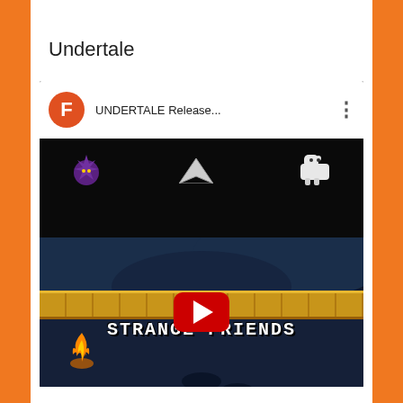Undertale
[Figure (screenshot): YouTube video thumbnail for 'UNDERTALE Release...' showing a game screenshot with the text 'STRANGE FRIENDS' and a YouTube play button overlay. The video has a user avatar 'F' in orange circle, and game art showing pixel creatures on a dark terrain background.]